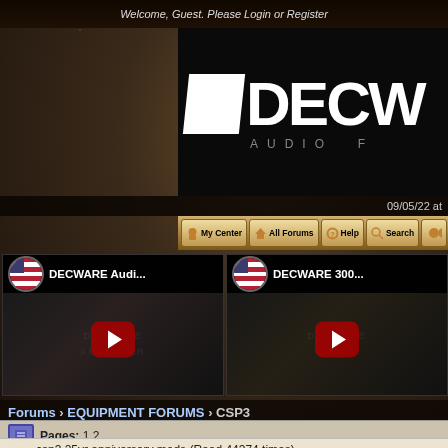Welcome, Guest. Please Login or Register
[Figure (logo): DECWARE Audio Forums logo with white diamond/parallelogram shape and DECW text in white on black background, with AUDIO F text below]
09/05/22 at
[Figure (screenshot): Navigation bar with buttons: My Center, All Forums, Help, Search, and one more icon button]
[Figure (screenshot): Video thumbnail for DECWARE Audi... with American flag circle icon and YouTube-style play button on dark background showing DECWARE AMPLIFIER]
[Figure (screenshot): Video thumbnail for DECWARE 300... with American flag circle icon and YouTube-style play button on dark background showing DECWARE DEMO]
Forums › EQUIPMENT FORUMS › CSP3
Pages: 1 2
csp3 25yr anniversary mods (Read 44374 times)
Triuyr1964